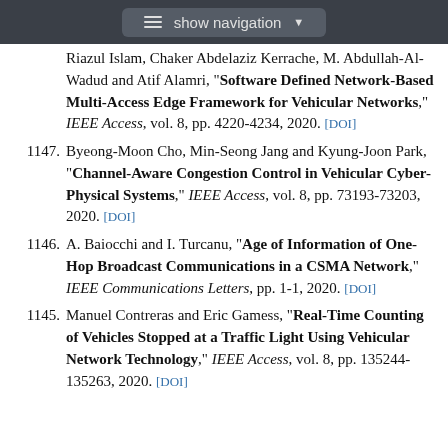show navigation
Riazul Islam, Chaker Abdelaziz Kerrache, M. Abdullah-Al-Wadud and Atif Alamri, "Software Defined Network-Based Multi-Access Edge Framework for Vehicular Networks," IEEE Access, vol. 8, pp. 4220-4234, 2020. [DOI]
1147. Byeong-Moon Cho, Min-Seong Jang and Kyung-Joon Park, "Channel-Aware Congestion Control in Vehicular Cyber-Physical Systems," IEEE Access, vol. 8, pp. 73193-73203, 2020. [DOI]
1146. A. Baiocchi and I. Turcanu, "Age of Information of One-Hop Broadcast Communications in a CSMA Network," IEEE Communications Letters, pp. 1-1, 2020. [DOI]
1145. Manuel Contreras and Eric Gamess, "Real-Time Counting of Vehicles Stopped at a Traffic Light Using Vehicular Network Technology," IEEE Access, vol. 8, pp. 135244-135263, 2020. [DOI]